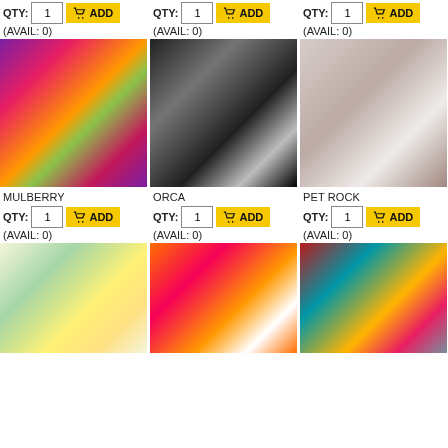QTY: 1  ADD
(AVAIL: 0)
QTY: 1  ADD
(AVAIL: 0)
QTY: 1  ADD
(AVAIL: 0)
[Figure (photo): Skein of multicolor yarn in pink, magenta, orange, yellow, and green tones - MULBERRY]
[Figure (photo): Skein of black and white/gray marled yarn - ORCA]
[Figure (photo): Skein of light beige/taupe yarn with subtle speckles - PET ROCK]
MULBERRY
ORCA
PET ROCK
QTY: 1  ADD
(AVAIL: 0)
QTY: 1  ADD
(AVAIL: 0)
QTY: 1  ADD
(AVAIL: 0)
[Figure (photo): Partial skein of light cream yarn with bright green and yellow-green speckles]
[Figure (photo): Skein of vivid neon pink, orange, and magenta yarn with white label band]
[Figure (photo): Partial skein of multicolor yarn in crimson, teal, orange, yellow, and gray]